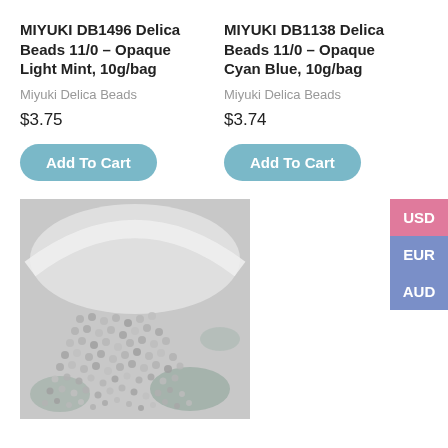MIYUKI DB1496 Delica Beads 11/0 – Opaque Light Mint, 10g/bag
Miyuki Delica Beads
$3.75
Add To Cart
MIYUKI DB1138 Delica Beads 11/0 – Opaque Cyan Blue, 10g/bag
Miyuki Delica Beads
$3.74
Add To Cart
[Figure (photo): Close-up photo of small grey/silver Miyuki seed beads scattered on a surface with a white bowl and green leaf pattern in background]
USD
EUR
AUD